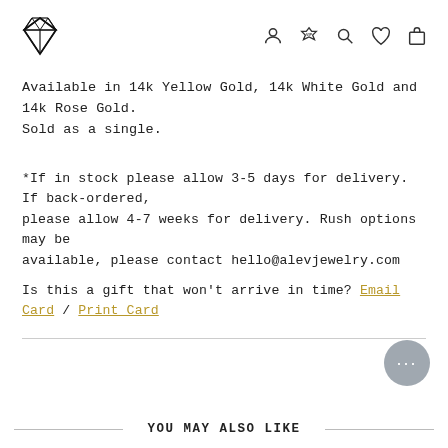ALEV Jewelry logo and navigation icons (person, VIP heart, search, wishlist, bag)
Available in 14k Yellow Gold, 14k White Gold and 14k Rose Gold. Sold as a single.
*If in stock please allow 3-5 days for delivery. If back-ordered, please allow 4-7 weeks for delivery. Rush options may be available, please contact hello@alevjewelry.com
Is this a gift that won't arrive in time? Email Card / Print Card
YOU MAY ALSO LIKE